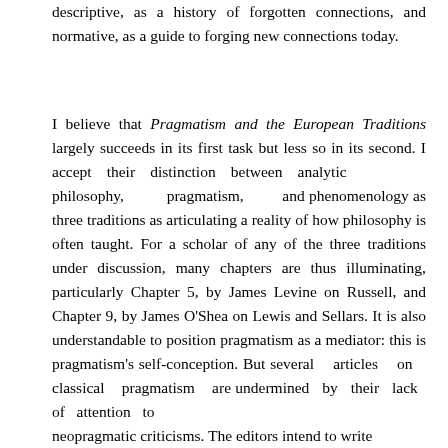descriptive, as a history of forgotten connections, and normative, as a guide to forging new connections today.
I believe that Pragmatism and the European Traditions largely succeeds in its first task but less so in its second. I accept their distinction between analytic philosophy, pragmatism, and phenomenology as three traditions as articulating a reality of how philosophy is often taught. For a scholar of any of the three traditions under discussion, many chapters are thus illuminating, particularly Chapter 5, by James Levine on Russell, and Chapter 9, by James O'Shea on Lewis and Sellars. It is also understandable to position pragmatism as a mediator: this is pragmatism's self-conception. But several articles on classical pragmatism are undermined by their lack of attention to neopragmatic criticisms. The editors intend to write